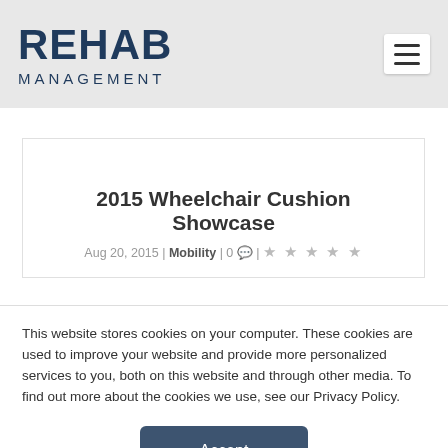REHAB MANAGEMENT
2015 Wheelchair Cushion Showcase
Aug 20, 2015 | Mobility | 0 | ☆ ☆ ☆ ☆ ☆
This website stores cookies on your computer. These cookies are used to improve your website and provide more personalized services to you, both on this website and through other media. To find out more about the cookies we use, see our Privacy Policy.
Accept